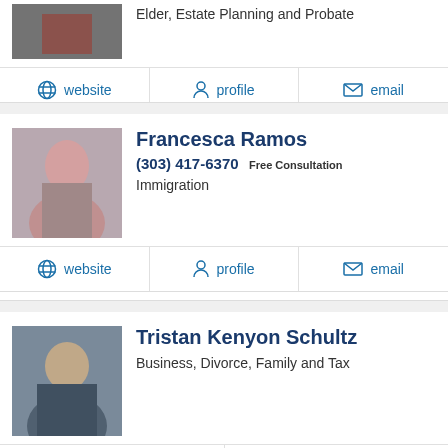Elder, Estate Planning and Probate
website  profile  email
Francesca Ramos
(303) 417-6370 Free Consultation
Immigration
website  profile  email
Tristan Kenyon Schultz
Business, Divorce, Family and Tax
profile  email